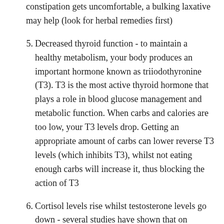constipation gets uncomfortable, a bulking laxative may help (look for herbal remedies first)
5. Decreased thyroid function - to maintain a healthy metabolism, your body produces an important hormone known as triiodothyronine (T3). T3 is the most active thyroid hormone that plays a role in blood glucose management and metabolic function. When carbs and calories are too low, your T3 levels drop. Getting an appropriate amount of carbs can lower reverse T3 levels (which inhibits T3), whilst not eating enough carbs will increase it, thus blocking the action of T3
6. Cortisol levels rise whilst testosterone levels go down - several studies have shown that on...